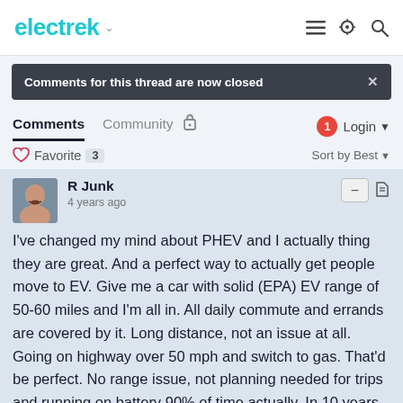electrek
Comments for this thread are now closed
Comments  Community  Login
Favorite 3  Sort by Best
R Junk
4 years ago
I've changed my mind about PHEV and I actually thing they are great. And a perfect way to actually get people move to EV. Give me a car with solid (EPA) EV range of 50-60 miles and I'm all in. All daily commute and errands are covered by it. Long distance, not an issue at all. Going on highway over 50 mph and switch to gas. That'd be perfect. No range issue, not planning needed for trips and running on battery 90% of time actually. In 10 years when if you could really charge EV car anywhere in 15 minutes for 3h highway driving then pure EVs will go mainstream. Until then PHEV with longer range